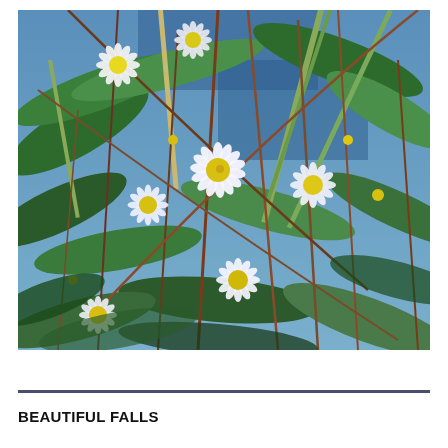[Figure (photo): Close-up photograph of white daisy-like wildflowers with yellow centers (asters) growing among green and brown grasses and foliage, with a blue sky visible in the background.]
BEAUTIFUL FALLS